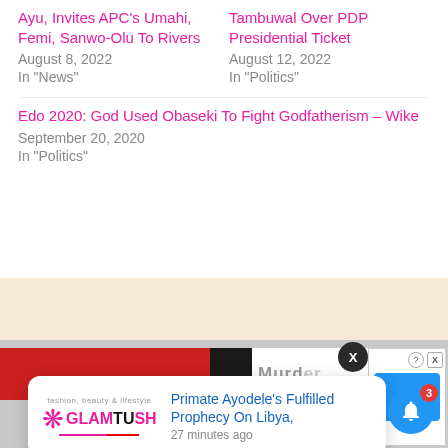Ayu, Invites APC's Umahi, Femi, Sanwo-Olu To Rivers
August 8, 2022
In "News"
Tambuwal Over PDP Presidential Ticket
August 12, 2022
In "Politics"
Edo 2020: God Used Obaseki To Fight Godfatherism – Wike
September 20, 2020
In "Politics"
[Figure (screenshot): Advertisement bar with red background and 'Murder' text, with close button (X) overlay]
[Figure (screenshot): GlamTush notification popup showing 'Primate Ayodele's Fulfilled Prophecy On Libya,' from 27 minutes ago]
[Figure (screenshot): Blue bell notification button with red badge showing count 3]